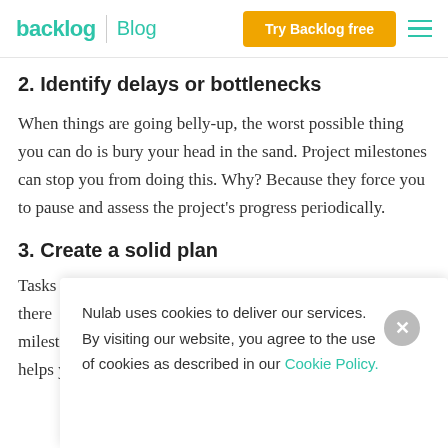backlog | Blog — Try Backlog free
2. Identify delays or bottlenecks
When things are going belly-up, the worst possible thing you can do is bury your head in the sand. Project milestones can stop you from doing this. Why? Because they force you to pause and assess the project’s progress periodically.
3. Create a solid plan
Tasks... and there... milestones makes it easier to plan ahead. It also helps you manage expectations. Stakeholders
Nulab uses cookies to deliver our services.
By visiting our website, you agree to the use of cookies as described in our Cookie Policy.